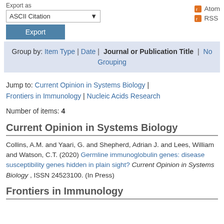Export as
ASCII Citation [dropdown] Export
Atom RSS
Group by: Item Type | Date | Journal or Publication Title | No Grouping
Jump to: Current Opinion in Systems Biology | Frontiers in Immunology | Nucleic Acids Research
Number of items: 4
Current Opinion in Systems Biology
Collins, A.M. and Yaari, G. and Shepherd, Adrian J. and Lees, William and Watson, C.T. (2020) Germline immunoglobulin genes: disease susceptibility genes hidden in plain sight? Current Opinion in Systems Biology , ISSN 24523100. (In Press)
Frontiers in Immunology